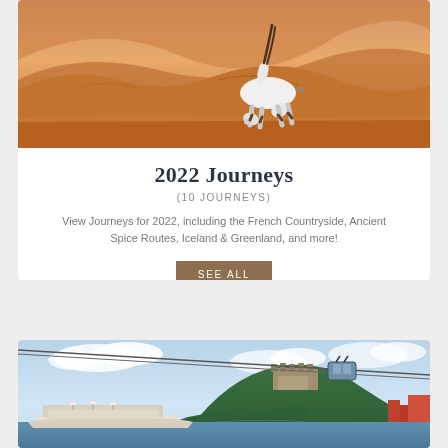[Figure (photo): White oryx/antelope standing in sandy desert dunes with orange sand background]
2022 Journeys
(10 JOURNEYS)
View Journeys for 2022, including the French Countryside, Ancient Spice Routes, Iceland & Greenland, and more!
SEE ALL
[Figure (photo): River cruise scene with cable car gondola over a hilltop castle/fortress, blue sky with clouds, waterfront with dock and buildings]